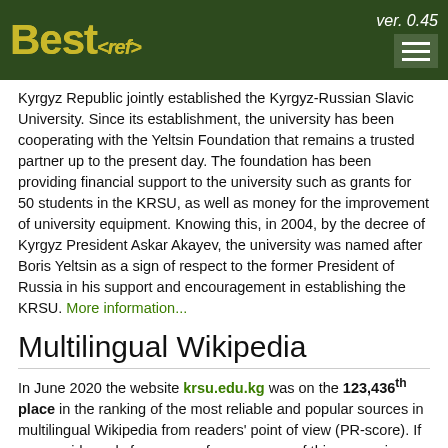Best<ref> ver. 0.45
Kyrgyz Republic jointly established the Kyrgyz-Russian Slavic University. Since its establishment, the university has been cooperating with the Yeltsin Foundation that remains a trusted partner up to the present day. The foundation has been providing financial support to the university such as grants for 50 students in the KRSU, as well as money for the improvement of university equipment. Knowing this, in 2004, by the decree of Kyrgyz President Askar Akayev, the university was named after Boris Yeltsin as a sign of respect to the former President of Russia in his support and encouragement in establishing the KRSU. More information...
Multilingual Wikipedia
In June 2020 the website krsu.edu.kg was on the 123,436th place in the ranking of the most reliable and popular sources in multilingual Wikipedia from readers' point of view (PR-score). If we consider only frequency of appearance of this source in references of Wikipedia articles (F-score), this website was on the 125,052nd place in June 2020. From Wikipedians' point of view, "krsu.edu.kg"